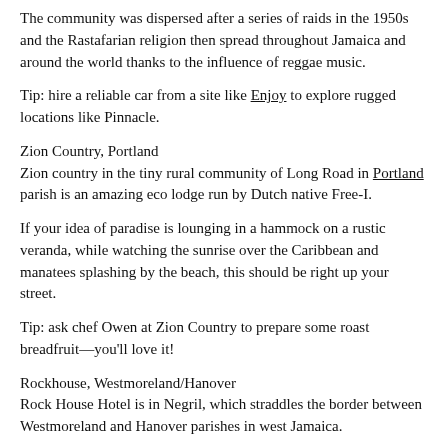The community was dispersed after a series of raids in the 1950s and the Rastafarian religion then spread throughout Jamaica and around the world thanks to the influence of reggae music.
Tip: hire a reliable car from a site like Enjoy to explore rugged locations like Pinnacle.
Zion Country, Portland
Zion country in the tiny rural community of Long Road in Portland parish is an amazing eco lodge run by Dutch native Free-I.
If your idea of paradise is lounging in a hammock on a rustic veranda, while watching the sunrise over the Caribbean and manatees splashing by the beach, this should be right up your street.
Tip: ask chef Owen at Zion Country to prepare some roast breadfruit—you'll love it!
Rockhouse, Westmoreland/Hanover
Rock House Hotel is in Negril, which straddles the border between Westmoreland and Hanover parishes in west Jamaica.